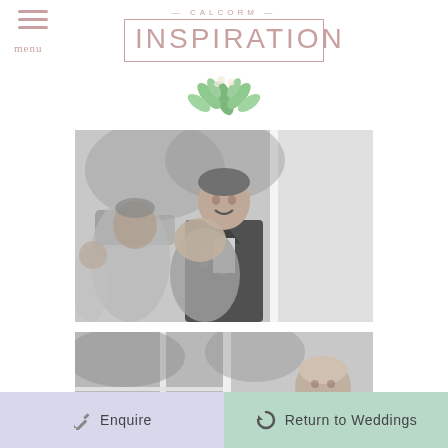CALCORM INSPIRATION
[Figure (photo): Black and white photo of a man in a suit giving a speech, smiling, with other people seated in the foreground]
[Figure (photo): Black and white photo split into two panels showing wedding guests and an older man giving a speech with a microphone]
Enquire
Return to Weddings